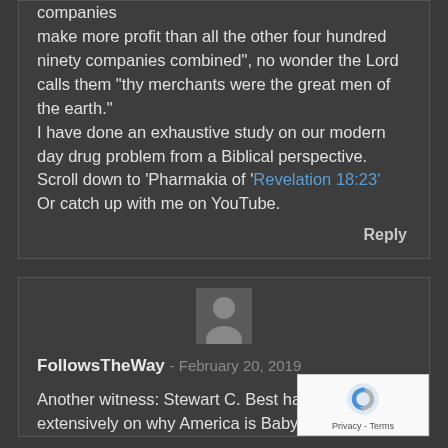companies make more profit than all the other four hundred ninety companies combined", no wonder the Lord calls them "thy merchants were the great men of the earth." I have done an exhaustive study on our modern day drug problem from a Biblical perspective. Scroll down to 'Pharmakia of 'Revelation 18:23' Or catch up with me on YouTube.
Reply
[Figure (illustration): Generic user avatar silhouette icon, gray on slightly darker gray background]
FollowsTheWay - February 20, 2019
Another witness: Stewart C. Best has also written extensively on why America is Babylon...